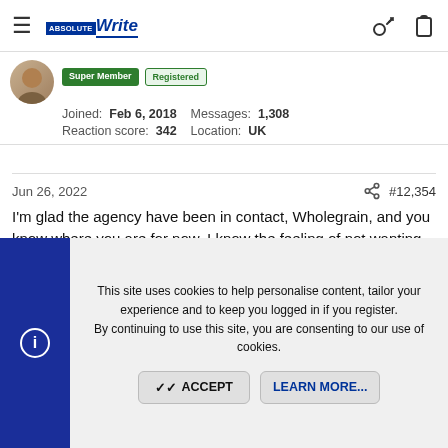AbsoluteWrite header navigation with hamburger menu, logo, key icon, clipboard icon
Joined: Feb 6, 2018  Messages: 1,308
Reaction score: 342  Location: UK
Jun 26, 2022  #12,354
I'm glad the agency have been in contact, Wholegrain, and you know where you are for now. I know the feeling of not wanting to bother a busy agent about something small - try to override it, if you can, it's all business at the end of the day and you've every right to ask.

Well done on finishing (or nearly finishing!) your draft, Fuchsia. How did you find forging ahead with very little revision? I did this with the last book I had to write quick and I hated working that way - it made
This site uses cookies to help personalise content, tailor your experience and to keep you logged in if you register.
By continuing to use this site, you are consenting to our use of cookies.